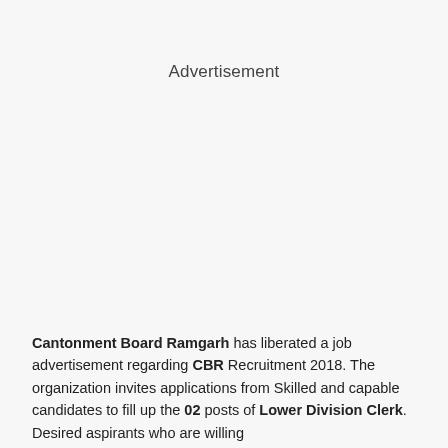Advertisement
Cantonment Board Ramgarh has liberated a job advertisement regarding CBR Recruitment 2018. The organization invites applications from Skilled and capable candidates to fill up the 02 posts of Lower Division Clerk. Desired aspirants who are willing